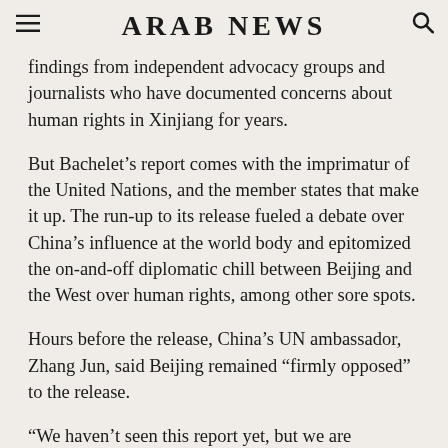ARAB NEWS
findings from independent advocacy groups and journalists who have documented concerns about human rights in Xinjiang for years.
But Bachelet’s report comes with the imprimatur of the United Nations, and the member states that make it up. The run-up to its release fueled a debate over China’s influence at the world body and epitomized the on-and-off diplomatic chill between Beijing and the West over human rights, among other sore spots.
Hours before the release, China’s UN ambassador, Zhang Jun, said Beijing remained “firmly opposed” to the release.
“We haven’t seen this report yet, but we are